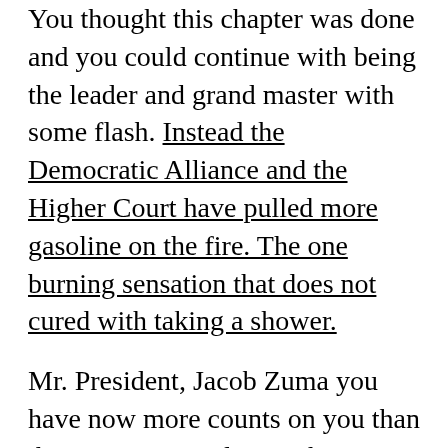You thought this chapter was done and you could continue with being the leader and grand master with some flash. Instead the Democratic Alliance and the Higher Court have pulled more gasoline on the fire. The one burning sensation that does not cured with taking a shower.
Mr. President, Jacob Zuma you have now more counts on you than the worst criminals. You have now had more cases had more allegations then anybody I know who actually are a current President and also a majority party President. That is in an achievement and not a positive one. All the other issues and trade-agreements that have hunted you; they are following your shadow no matter where